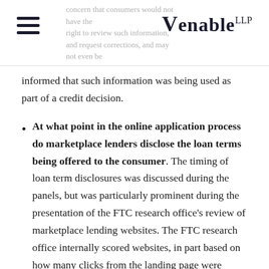Venable LLP
informed that such information was being used as part of a credit decision.
At what point in the online application process do marketplace lenders disclose the loan terms being offered to the consumer. The timing of loan term disclosures was discussed during the panels, but was particularly prominent during the presentation of the FTC research office's review of marketplace lending websites. The FTC research office internally scored websites, in part based on how many clicks from the landing page were required to reach